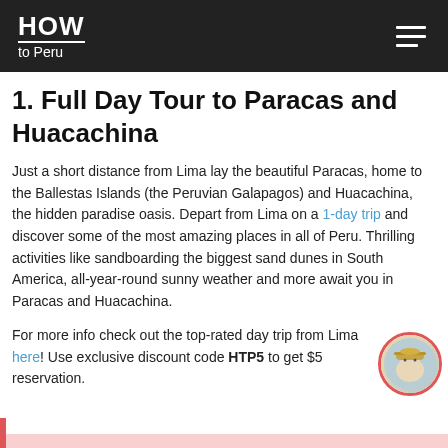HOW to Peru
1. Full Day Tour to Paracas and Huacachina
Just a short distance from Lima lay the beautiful Paracas, home to the Ballestas Islands (the Peruvian Galapagos) and Huacachina, the hidden paradise oasis. Depart from Lima on a 1-day trip and discover some of the most amazing places in all of Peru. Thrilling activities like sandboarding the biggest sand dunes in South America, all-year-round sunny weather and more await you in Paracas and Huacachina.
For more info check out the top-rated day trip from Lima here! Use exclusive discount code HTP5 to get $5 reservation.